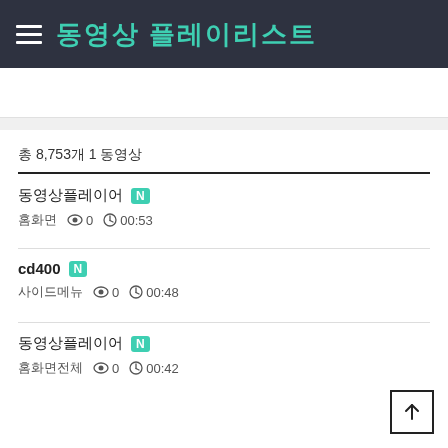≡ 동영상 플레이리스트
총 8,753개 1 동영상
동영상플레이어 N | 홈화면 👁 0 🕐 00:53
cd400 N | 사이드메뉴 👁 0 🕐 00:48
동영상플레이어 N | 홈화면전체 👁 0 🕐 00:42